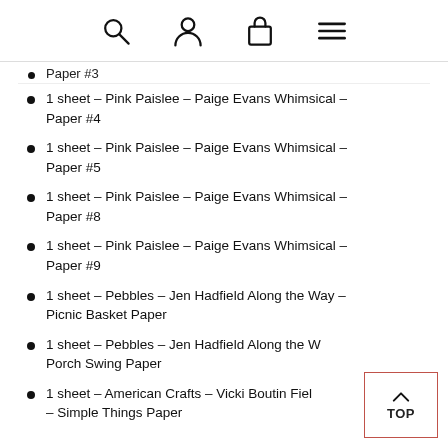[Search icon] [User icon] [Bag icon] [Menu icon]
Paper #3
1 sheet – Pink Paislee – Paige Evans Whimsical – Paper #4
1 sheet – Pink Paislee – Paige Evans Whimsical – Paper #5
1 sheet – Pink Paislee – Paige Evans Whimsical – Paper #8
1 sheet – Pink Paislee – Paige Evans Whimsical – Paper #9
1 sheet – Pebbles – Jen Hadfield Along the Way – Picnic Basket Paper
1 sheet – Pebbles – Jen Hadfield Along the Way – Porch Swing Paper
1 sheet – American Crafts – Vicki Boutin Fields – Simple Things Paper